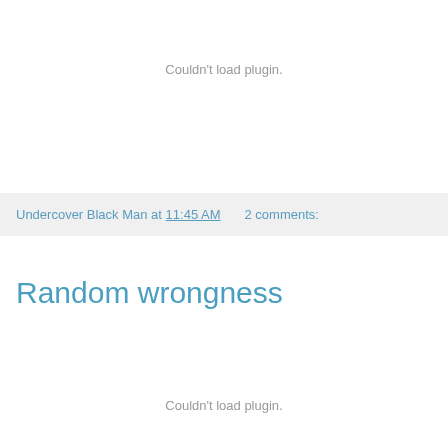Couldn't load plugin.
Undercover Black Man at 11:45 AM    2 comments:
Random wrongness
Couldn't load plugin.